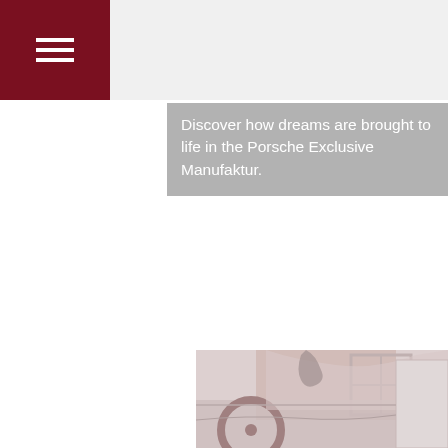Discover how dreams are brought to life in the Porsche Exclusive Manufaktur.
[Figure (photo): Interior view of a Porsche convertible showing the steering wheel, dashboard, and open top, with a brick wall and window visible in the background]